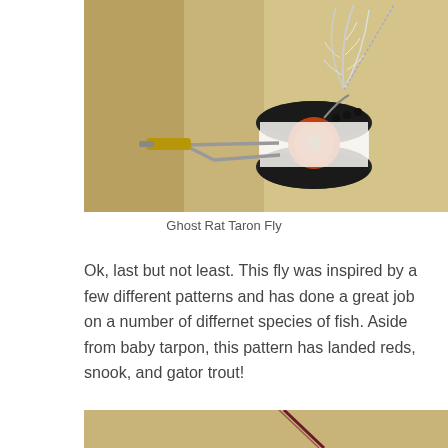[Figure (photo): A fishing fly (Ghost Rat Tarpon Fly) made with white feathers and black beads, mounted on a thread spool with a bobbin holder tool, on a tan background.]
Ghost Rat Taron Fly
Ok, last but not least. This fly was inspired by a few different patterns and has done a great job on a number of differnet species of fish. Aside from baby tarpon, this pattern has landed reds, snook, and gator trout!
[Figure (photo): Partial view of a fly tying material or hook on a tan/beige background, showing a dark reddish-purple strand.]